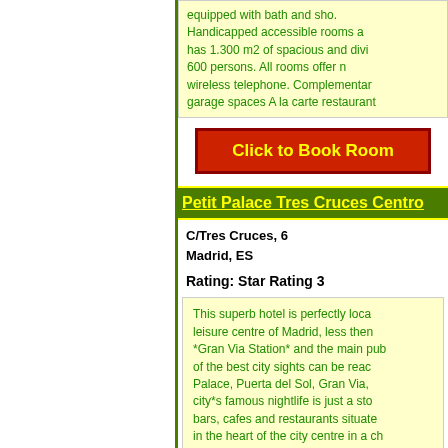equipped with bath and sho. Handicapped accessible rooms a has 1.300 m2 of spacious and divi 600 persons. All rooms offer n wireless telephone. Complementar garage spaces A la carte restaurant
Click to Book Room
Petit Palace Tres Cruces Centro
C/Tres Cruces, 6
Madrid, ES
Rating: Star Rating 3
This superb hotel is perfectly loca leisure centre of Madrid, less then *Gran Via Station* and the main pub of the best city sights can be reac Palace, Puerta del Sol, Gran Via, city*s famous nightlife is just a sto bars, cafes and restaurants situate in the heart of the city centre in a ch